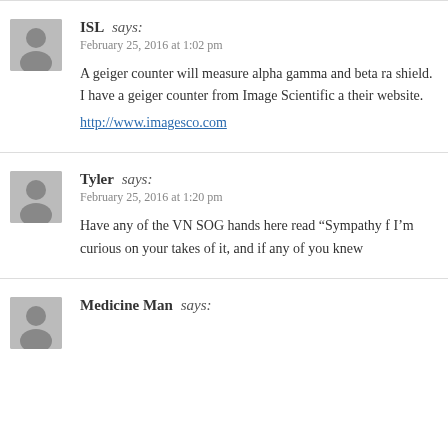ISL says: February 25, 2016 at 1:02 pm
A geiger counter will measure alpha gamma and beta ra... shield. I have a geiger counter from Image Scientific a... their website.
http://www.imagesco.com
Tyler says: February 25, 2016 at 1:20 pm
Have any of the VN SOG hands here read “Sympathy f... I’m curious on your takes of it, and if any of you knew...
Medicine Man says: